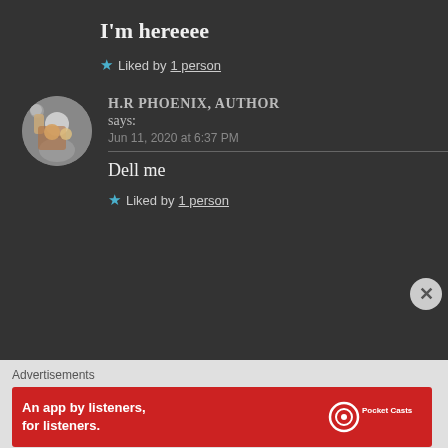I'm hereeee
★ Liked by 1 person
H.R PHOENIX, AUTHOR says:
Jun 11, 2020 at 6:37 PM
Dell me
★ Liked by 1 person
Advertisements
[Figure (screenshot): Pocket Casts advertisement banner: red background with text 'An app by listeners, for listeners.' and Pocket Casts logo on the right, with a phone image showing 'Distributed' text.]